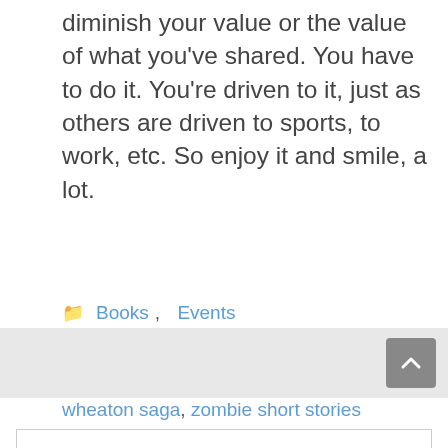diminish your value or the value of what you've shared. You have to do it. You're driven to it, just as others are driven to sports, to work, etc. So enjoy it and smile, a lot.
Categories: Books, Events
Tags: book signing, j gerard michaels, run zombie run, the 5k zombie run, the cord wheaton saga, zombie short stories
< FREE Zombie Downloads!
> Florida Indie Bookstore Day